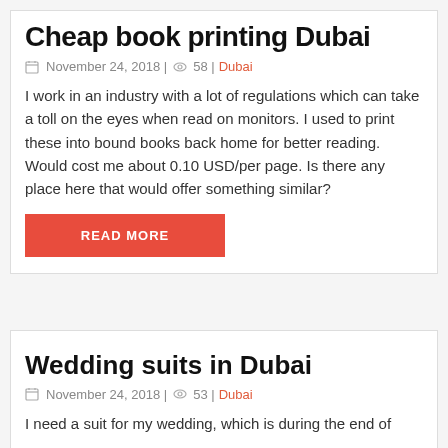Cheap book printing Dubai
November 24, 2018 | 58 | Dubai
I work in an industry with a lot of regulations which can take a toll on the eyes when read on monitors. I used to print these into bound books back home for better reading. Would cost me about 0.10 USD/per page. Is there any place here that would offer something similar?
READ MORE
Wedding suits in Dubai
November 24, 2018 | 53 | Dubai
I need a suit for my wedding, which is during the end of